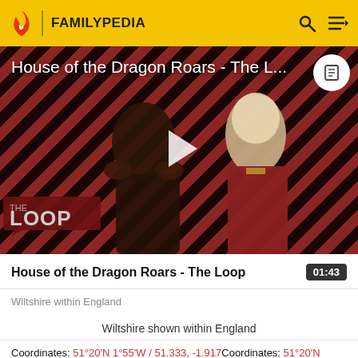FAMILYPEDIA
[Figure (screenshot): Video thumbnail for 'House of the Dragon Roars - The Loop' showing two characters from the show against a diagonal red-and-black striped background, with a large white play button in the center and 'THE LOOP' branding in the lower left.]
House of the Dragon Roars - The Loop
01:43
Wiltshire within England
Wiltshire shown within England
Coordinates: 51°20'N 1°55'W / 51.333, -1.917Coordinates: 51°20'N